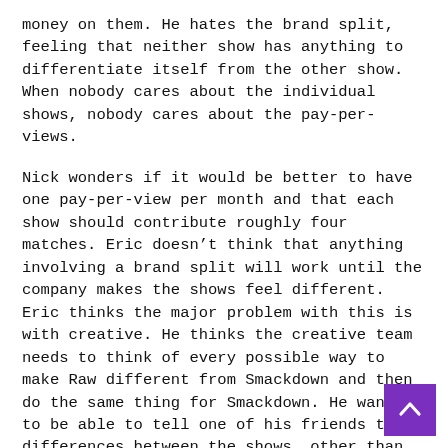money on them. He hates the brand split, feeling that neither show has anything to differentiate itself from the other show. When nobody cares about the individual shows, nobody cares about the pay-per-views.
Nick wonders if it would be better to have one pay-per-view per month and that each show should contribute roughly four matches. Eric doesn’t think that anything involving a brand split will work until the company makes the shows feel different. Eric thinks the major problem with this is with creative. He thinks the creative team needs to think of every possible way to make Raw different from Smackdown and then do the same thing for Smackdown. He wants to be able to tell one of his friends the differences between the shows, other than the talent.
Score and Review (7/10):
I’m someone that loves mailbag questions, so I was disappointed not to hear any of those this week, though I